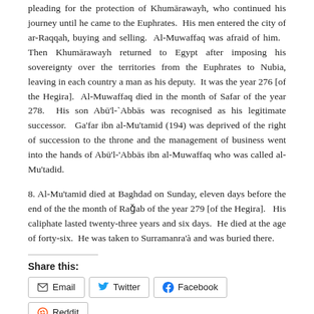pleading for the protection of Khumārawayh, who continued his journey until he came to the Euphrates. His men entered the city of ar-Raqqah, buying and selling. Al-Muwaffaq was afraid of him. Then Khumārawayh returned to Egypt after imposing his sovereignty over the territories from the Euphrates to Nubia, leaving in each country a man as his deputy. It was the year 276 [of the Hegira]. Al-Muwaffaq died in the month of Safar of the year 278. His son Abū'l-`Abbās was recognised as his legitimate successor. Ga'far ibn al-Mu'tamid (194) was deprived of the right of succession to the throne and the management of business went into the hands of Abū'l-'Abbās ibn al-Muwaffaq who was called al-Mu'tadid.
8. Al-Mu'tamid died at Baghdad on Sunday, eleven days before the end of the the month of Raǧab of the year 279 [of the Hegira]. His caliphate lasted twenty-three years and six days. He died at the age of forty-six. He was taken to Surramanra'à and was buried there.
Share this:
Email
Twitter
Facebook
Reddit
LinkedIn
Pinterest
Like this: